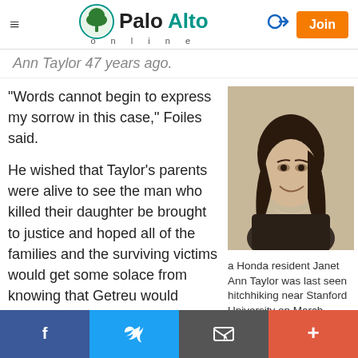Palo Alto online
Ann Taylor 47 years ago.
"Words cannot begin to express my sorrow in this case," Foiles said.
He wished that Taylor's parents were alive to see the man who killed their daughter be brought to justice and hoped all of the families and the surviving victims would get some solace from knowing that Getreu would spend the remainder of his life in prison.
[Figure (photo): Black and white portrait photo of Janet Ann Taylor, a young woman with long dark hair, smiling, wearing a dark top and necklace.]
a Honda resident Janet Ann Taylor was last seen hitchhiking near Stanford University on March
Facebook  Twitter  Email  +